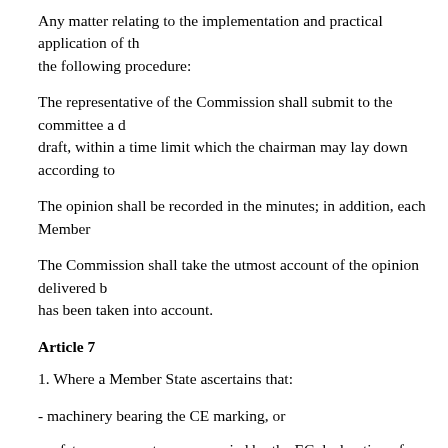Any matter relating to the implementation and practical application of the following procedure:
The representative of the Commission shall submit to the committee a draft, within a time limit which the chairman may lay down according to
The opinion shall be recorded in the minutes; in addition, each Member
The Commission shall take the utmost account of the opinion delivered by the committee. It shall inform the committee of the manner in which its opinion has been taken into account.
Article 7
1. Where a Member State ascertains that:
- machinery bearing the CE marking, or
- safety components accompanied by the EC declaration of conformity,
used in accordance with their intended purpose are liable to endanger the safety of persons, it shall take all appropriate measures to withdraw such machinery or safety components from the market, to prohibit the placing on the market, putting into service or use thereof, or to restrict free movement thereof.